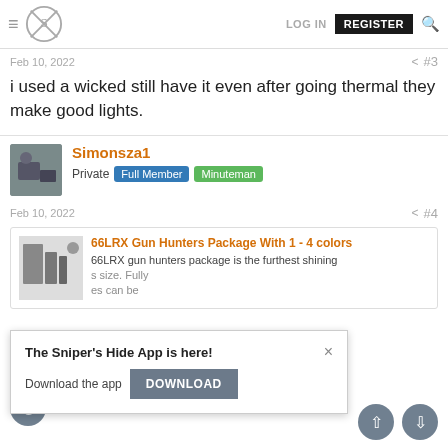[Figure (logo): Sniper's Hide forum logo with crossed arrows and S icon, hamburger menu, LOG IN, REGISTER, and search icon]
Feb 10, 2022
#3
i used a wicked still have it even after going thermal they make good lights.
Simonsza1
Private  Full Member  Minuteman
Feb 10, 2022
#4
66LRX Gun Hunters Package With 1 - 4 colors
66LRX gun hunters package is the furthest shining
The Sniper's Hide App is here!
Download the app
DOWNLOAD